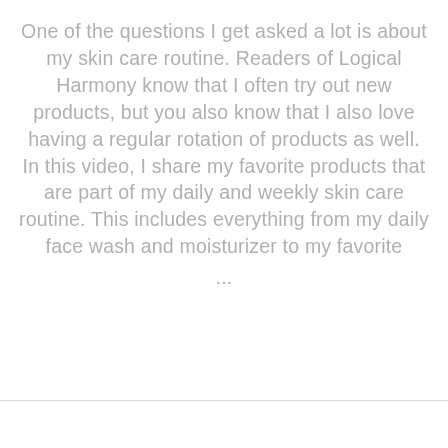One of the questions I get asked a lot is about my skin care routine. Readers of Logical Harmony know that I often try out new products, but you also know that I also love having a regular rotation of products as well. In this video, I share my favorite products that are part of my daily and weekly skin care routine. This includes everything from my daily face wash and moisturizer to my favorite ...